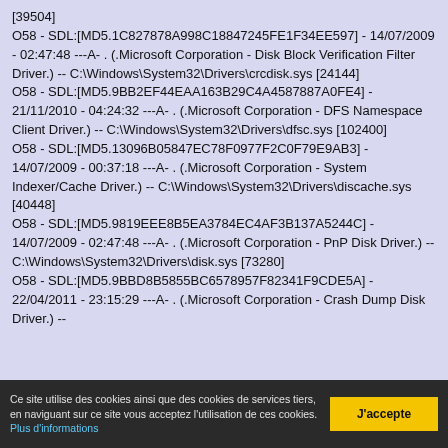[39504] O58 - SDL:[MD5.1C827878A998C18847245FE1F34EE597] - 14/07/2009 - 02:47:48 ---A- . (.Microsoft Corporation - Disk Block Verification Filter Driver.) -- C:\Windows\System32\Drivers\crcdisk.sys [24144] O58 - SDL:[MD5.9BB2EF44EAA163B29C4A4587887A0FE4] - 21/11/2010 - 04:24:32 ---A- . (.Microsoft Corporation - DFS Namespace Client Driver.) -- C:\Windows\System32\Drivers\dfsc.sys [102400] O58 - SDL:[MD5.13096B05847EC78F0977F2C0F79E9AB3] - 14/07/2009 - 00:37:18 ---A- . (.Microsoft Corporation - System Indexer/Cache Driver.) -- C:\Windows\System32\Drivers\discache.sys [40448] O58 - SDL:[MD5.9819EEE8B5EA3784EC4AF3B137A5244C] - 14/07/2009 - 02:47:48 ---A- . (.Microsoft Corporation - PnP Disk Driver.) -- C:\Windows\System32\Drivers\disk.sys [73280] O58 - SDL:[MD5.9BBD8B5855BC6578957F82341F9CDE5A] - 22/04/2011 - 23:15:29 ---A- . (.Microsoft Corporation - Crash Dump Disk Driver.) --
Ce site utilise des cookies ainsi que des cookies de services tiers, en naviguant sur ce site vous acceptez l'utilisation de ces cookies. Plus d'informations